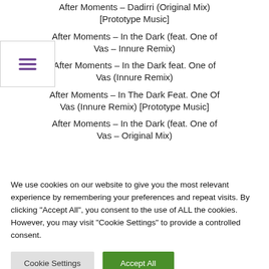After Moments – Dadirri (Original Mix) [Prototype Music]
After Moments – In the Dark (feat. One of Vas – Innure Remix)
After Moments – In the Dark feat. One of Vas (Innure Remix)
After Moments – In The Dark Feat. One Of Vas (Innure Remix) [Prototype Music]
After Moments – In the Dark (feat. One of Vas – Original Mix)
We use cookies on our website to give you the most relevant experience by remembering your preferences and repeat visits. By clicking "Accept All", you consent to the use of ALL the cookies. However, you may visit "Cookie Settings" to provide a controlled consent.